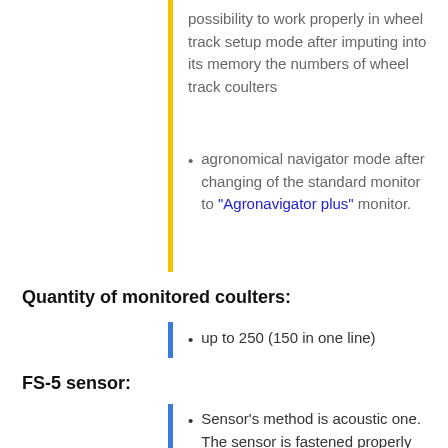possibility to work properly in wheel track setup mode after imputing into its memory the numbers of wheel track coulters
agronomical navigator mode after changing of the standard monitor to "Agronavigator plus" monitor.
Quantity of monitored coulters:
up to 250 (150 in one line)
FS-5 sensor:
Sensor's method is acoustic one. The sensor is fastened properly on the grain pipe and catches the acoustic vibrations when seeds